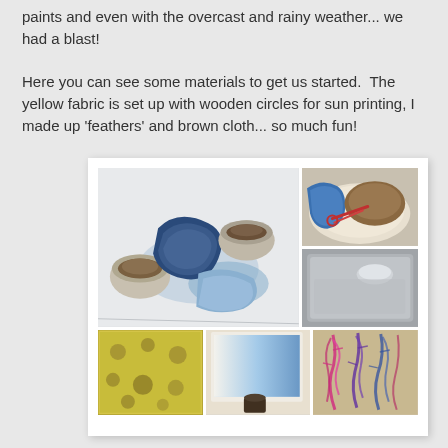paints and even with the overcast and rainy weather... we had a blast!

Here you can see some materials to get us started.  The yellow fabric is set up with wooden circles for sun printing, I made up 'feathers' and brown cloth... so much fun!
[Figure (photo): A collage of 5 photos showing sun printing art materials and results: blue fabric and bowls of materials on a white surface (large left), scissors and materials on a plate (top right), a tray/board (middle right), yellow fabric with spots (bottom left), a blue gradient board (bottom center), and colorful feather-print fabric in pink/purple/blue (bottom right).]